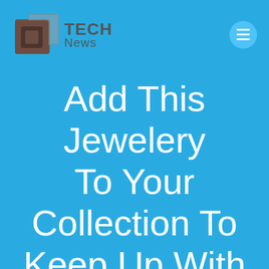[Figure (logo): Tech News logo with stacked brown square icon and gray TECH News text]
[Figure (other): Hamburger menu icon, three white horizontal lines on a light blue circle]
Add This Jewelery To Your Collection To Keep Up With